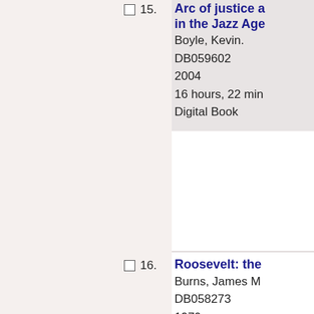15. Arc of justice a... in the Jazz Age
Boyle, Kevin.
DB059602
2004
16 hours, 22 min
Digital Book
16. Roosevelt: the...
Burns, James M...
DB058273
1970
29 hours, 28 min
Digital Book
17. Waiting for sno... boy
Eire, Carlos M. N...
DB057745
2003
14 hours, 48 min
Digital Book